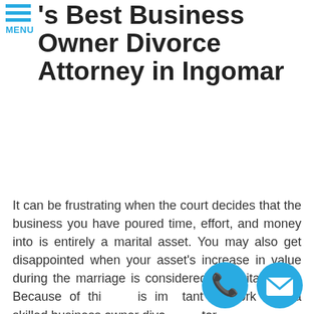MENU
Best Business Owner Divorce Attorney in Ingomar
It can be frustrating when the court decides that the business you have poured time, effort, and money into is entirely a marital asset. You may also get disappointed when your asset's increase in value during the marriage is considered a marital asset. Because of this, is important to work with a skilled business owner divorce attorney